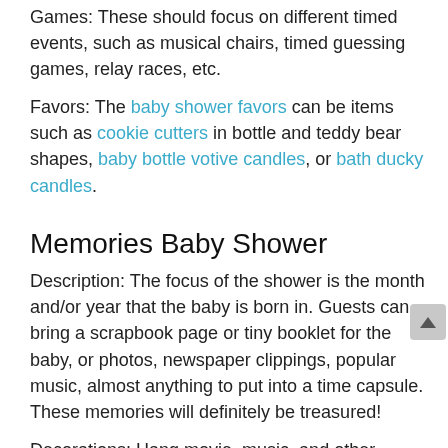Games: These should focus on different timed events, such as musical chairs, timed guessing games, relay races, etc.
Favors: The baby shower favors can be items such as cookie cutters in bottle and teddy bear shapes, baby bottle votive candles, or bath ducky candles.
Memories Baby Shower
Description: The focus of the shower is the month and/or year that the baby is born in. Guests can bring a scrapbook page or tiny booklet for the baby, or photos, newspaper clippings, popular music, almost anything to put into a time capsule. These memories will definitely be treasured!
Decorations: Hang movie, music, and other posters that commemorate a specific year, it can be the year the baby